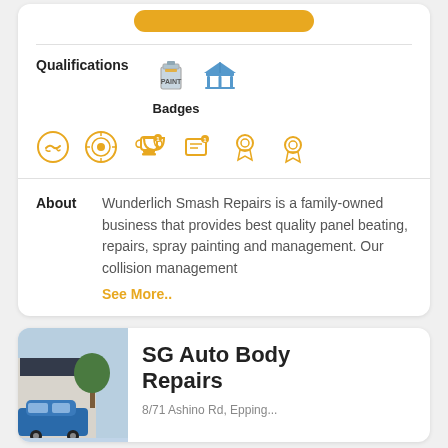[Figure (other): Yellow rounded button at top of card]
Qualifications
[Figure (other): Two qualification badge icons: paint can and umbrella/gazebo]
Badges
[Figure (other): Six badge icons in amber/gold: handshake, target/verified, trophy with notification, certificate with notification, ribbon award, ribbon award]
About
Wunderlich Smash Repairs is a family-owned business that provides best quality panel beating, repairs, spray painting and management. Our collision management
See More..
SG Auto Body Repairs
[Figure (photo): Photo of auto body repair shop building with blue car in front]
8/71 Ashino Rd, Epping...